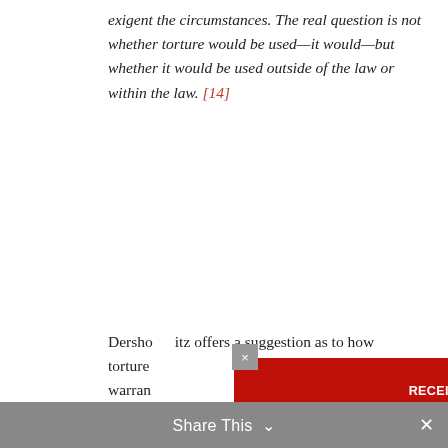exigent the circumstances. The real question is not whether torture would be used—it would—but whether it would be used outside of the law or within the law. [14]
Dershowitz offers a suggestion as to how torture warrants... a helpful... needles under t... wer for Salon.co... ctic that ca... sical harm b... e point I wante... eing used as... en used as... ting
[Figure (screenshot): Newsletter signup popup overlay on a red background. Contains header text 'RECEIVE MERIP'S NEWSLETTER FOR ALL THE LATEST ANALYSIS. ENTER YOUR EMAIL AND CLICK SIGNUP.' with an email input field labeled 'Your Email' and a 'Sign Up' button. A close (x) button is in the upper left corner of the popup.]
Share This ∨